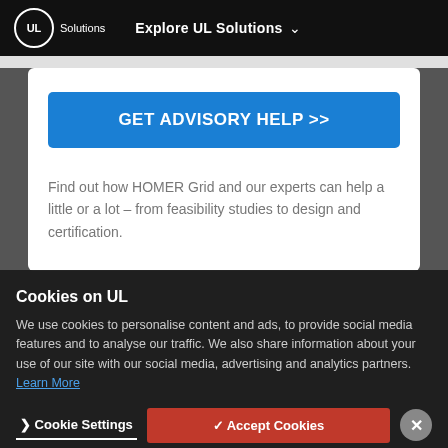UL Solutions | Explore UL Solutions
GET ADVISORY HELP >>
Find out how HOMER Grid and our experts can help a little or a lot – from feasibility studies to design and certification.
Cookies on UL
We use cookies to personalise content and ads, to provide social media features and to analyse our traffic. We also share information about your use of our site with our social media, advertising and analytics partners. Learn More
Cookie Settings
✓ Accept Cookies